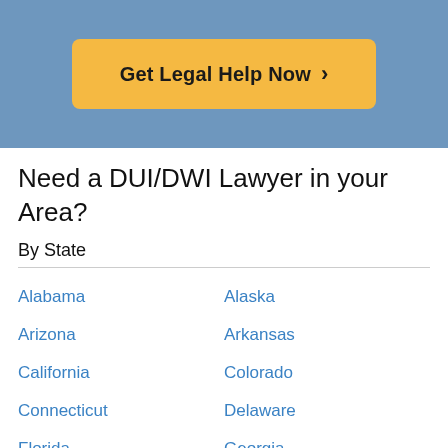[Figure (other): Blue header banner with orange/yellow CTA button labeled 'Get Legal Help Now >']
Need a DUI/DWI Lawyer in your Area?
By State
Alabama
Alaska
Arizona
Arkansas
California
Colorado
Connecticut
Delaware
Florida
Georgia
Show More »